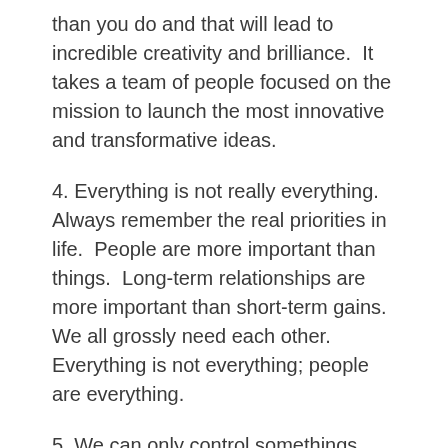than you do and that will lead to incredible creativity and brilliance.  It takes a team of people focused on the mission to launch the most innovative and transformative ideas.
4. Everything is not really everything. Always remember the real priorities in life.  People are more important than things.  Long-term relationships are more important than short-term gains. We all grossly need each other. Everything is not everything; people are everything.
5. We can only control somethings, never everything.
Inevitably, we will all go through periods in our lives that will feel like 7